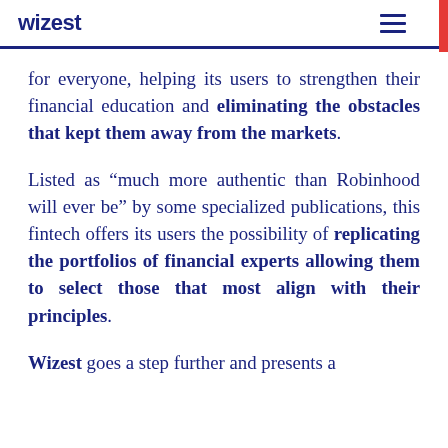wizest
for everyone, helping its users to strengthen their financial education and eliminating the obstacles that kept them away from the markets.
Listed as “much more authentic than Robinhood will ever be” by some specialized publications, this fintech offers its users the possibility of replicating the portfolios of financial experts allowing them to select those that most align with their principles.
Wizest goes a step further and presents a